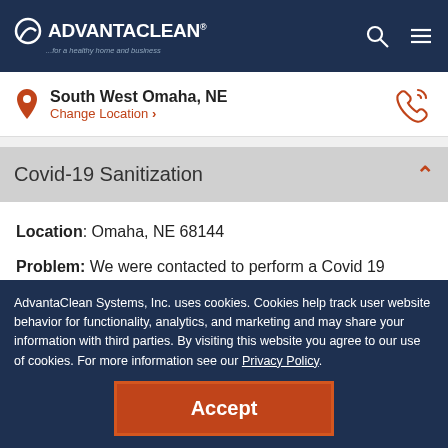AdvantaClean ...for a healthy home and business
South West Omaha, NE
Change Location >
Covid-19 Sanitization
Location: Omaha, NE 68144
Problem: We were contacted to perform a Covid 19 Sanitization after an individual positive for coronavirus had been in a commercial building. The suspected location of
AdvantaClean Systems, Inc. uses cookies. Cookies help track user website behavior for functionality, analytics, and marketing and may share your information with third parties. By visiting this website you agree to our use of cookies. For more information see our Privacy Policy.
Accept